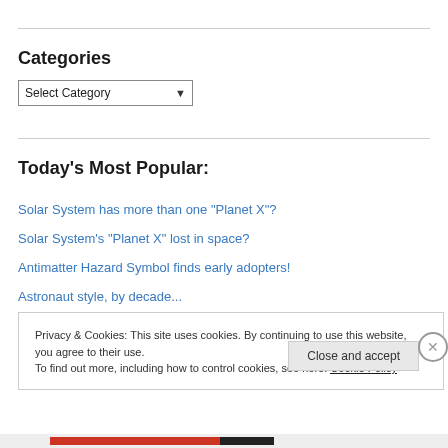Categories
Select Category
Today's Most Popular:
Solar System has more than one "Planet X"?
Solar System's "Planet X" lost in space?
Antimatter Hazard Symbol finds early adopters!
Astronaut style, by decade...
Privacy & Cookies: This site uses cookies. By continuing to use this website, you agree to their use.
To find out more, including how to control cookies, see here: Cookie Policy
Close and accept